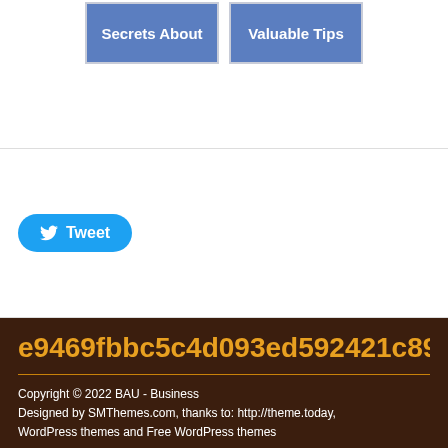[Figure (screenshot): Two card-style buttons with blue background: 'Secrets About' and 'Valuable Tips']
[Figure (screenshot): Tweet button with Twitter bird icon on white background panel]
e9469fbbc5c4d093ed592421c89769f:
Copyright © 2022 BAU - Business
Designed by SMThemes.com, thanks to: http://theme.today,
WordPress themes and Free WordPress themes